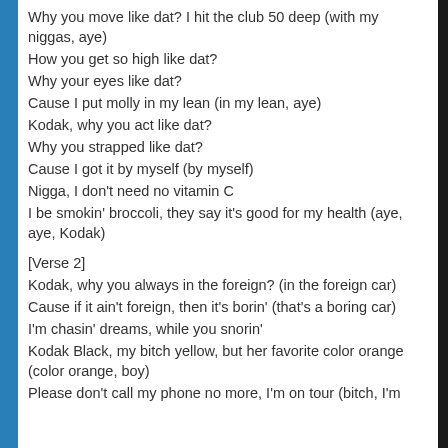Why you move like dat? I hit the club 50 deep (with my niggas, aye)
How you get so high like dat?
Why your eyes like dat?
Cause I put molly in my lean (in my lean, aye)
Kodak, why you act like dat?
Why you strapped like dat?
Cause I got it by myself (by myself)
Nigga, I don't need no vitamin C
I be smokin' broccoli, they say it's good for my health (aye, aye, Kodak)
[Verse 2]
Kodak, why you always in the foreign? (in the foreign car)
Cause if it ain't foreign, then it's borin' (that's a boring car)
I'm chasin' dreams, while you snorin'
Kodak Black, my bitch yellow, but her favorite color orange (color orange, boy)
Please don't call my phone no more, I'm on tour (bitch, I'm